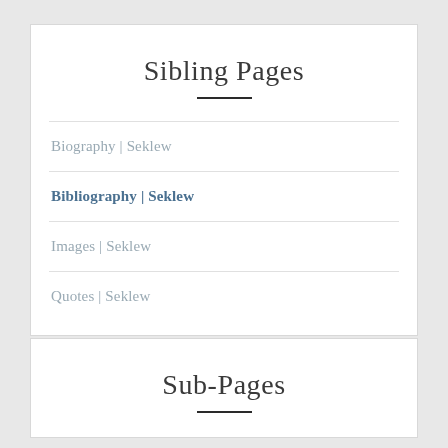Sibling Pages
Biography | Seklew
Bibliography | Seklew
Images | Seklew
Quotes | Seklew
Sub-Pages